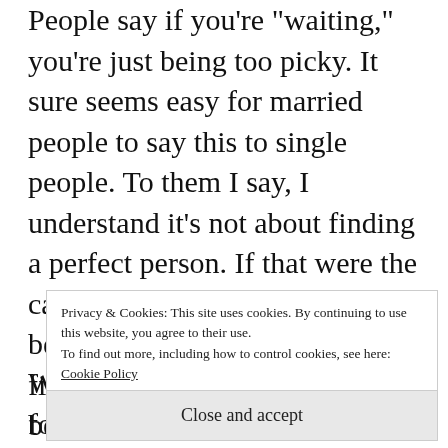People say if you're 'waiting,' you're just being too picky. It sure seems easy for married people to say this to single people. To them I say, I understand it's not about finding a perfect person. If that were the case, I'd be single forever– not because I wouldn't be able to find a perfect person but because I'm NOT a perfect person. I'm flawed, and I hope I don't find someone who is perfect because then they would probably
Privacy & Cookies: This site uses cookies. By continuing to use this website, you agree to their use.
To find out more, including how to control cookies, see here: Cookie Policy
Close and accept
What I'm waiting for. I'll wait for a man that